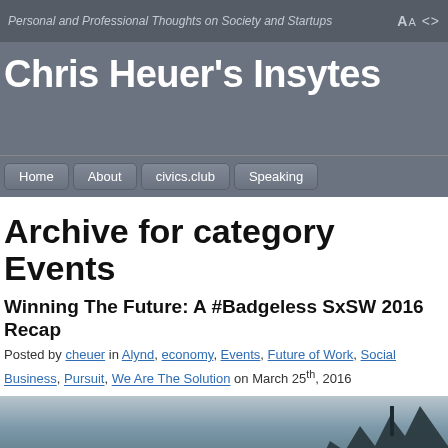Personal and Professional Thoughts on Society and Startups
Chris Heuer's Insytes
Home
About
civics.club
Speaking
Archive for category Events
Winning The Future: A #Badgeless SxSW 2016 Recap
Posted by cheuer in Alynd, economy, Events, Future of Work, Social Business, Pursuit, We Are The Solution on March 25th, 2016
[Figure (photo): A landscape photo showing a dark building silhouette against a grey-blue sky]